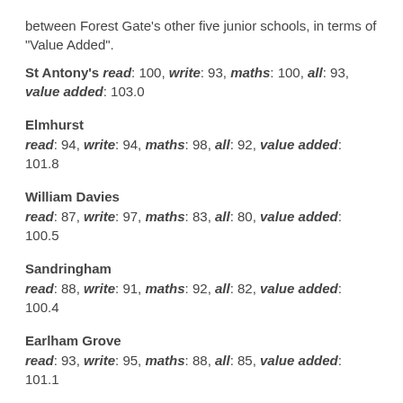between Forest Gate's other five junior schools, in terms of "Value Added".
St Antony's read: 100, write: 93, maths: 100, all: 93, value added: 103.0
Elmhurst read: 94, write: 94, maths: 98, all: 92, value added: 101.8
William Davies read: 87, write: 97, maths: 83, all: 80, value added: 100.5
Sandringham read: 88, write: 91, maths: 92, all: 82, value added: 100.4
Earlham Grove read: 93, write: 95, maths: 88, all: 85, value added: 101.1
Godwin read: 91, write: 86, maths: 94, all: 83, value added: 101.0
St James'